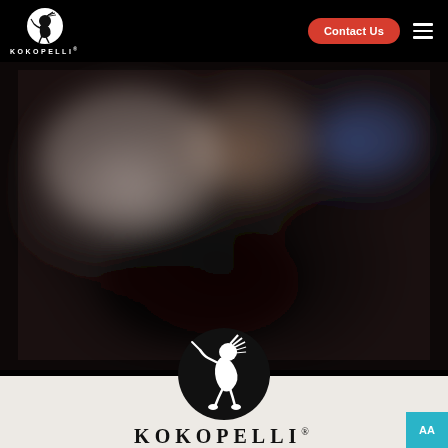KOKOPELLI — navigation bar with logo, Contact Us button, and hamburger menu
[Figure (photo): Blurred dark background hero image with scattered light highlights — appears to show a kitchen or industrial setting with warm and cool light sources, heavily blurred]
[Figure (logo): Large Kokopelli logo: black circle containing white silhouette of the Kokopelli flute-player figure, with KOKOPELLI text in serif capitals below]